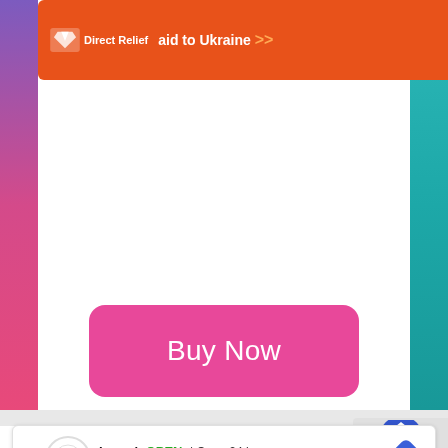[Figure (infographic): Orange Direct Relief donation banner ad for Ukraine aid with logo and arrows]
[Figure (infographic): Pink 'Buy Now' button centered on white background]
[Figure (infographic): Bottom advertisement banner for DoorDash Laurel location showing OPEN status, Open 24 hours, 6000 Sandy Spring Road Laurel, with navigation arrow icon]